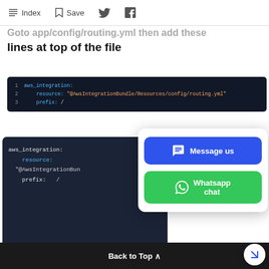Index  Save  [Twitter]  [Facebook]
Goto app/config/routing.yml then add these lines at top of the file
[Figure (screenshot): Code block showing aws_integration YAML config with line numbers 1-3: aws_integration:, resource: "@AwsIntegrationBundle/Resources/config/routing.yml", prefix: /]
[Figure (screenshot): Dark code block and overlay popup with 'Message us' blue button and 'Whatsapp chat' green button]
Back to Top ^